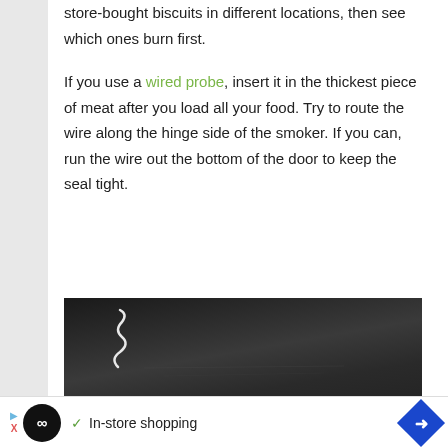store-bought biscuits in different locations, then see which ones burn first.
If you use a wired probe, insert it in the thickest piece of meat after you load all your food. Try to route the wire along the hinge side of the smoker. If you can, run the wire out the bottom of the door to keep the seal tight.
[Figure (photo): Close-up photo of a dark smoker exterior showing a spiral wire/probe cord attached near the top corner of a dark metal panel with some light scratch marks visible.]
In-store shopping